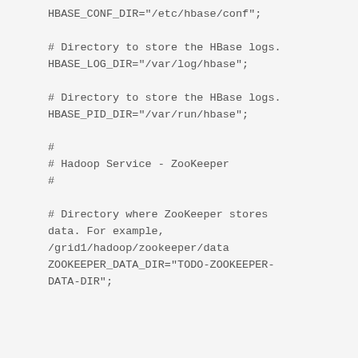HBASE_CONF_DIR="/etc/hbase/conf";

# Directory to store the HBase logs.
HBASE_LOG_DIR="/var/log/hbase";

# Directory to store the HBase logs.
HBASE_PID_DIR="/var/run/hbase";

#
# Hadoop Service - ZooKeeper
#

# Directory where ZooKeeper stores data. For example,
/grid1/hadoop/zookeeper/data
ZOOKEEPER_DATA_DIR="TODO-ZOOKEEPER-DATA-DIR";